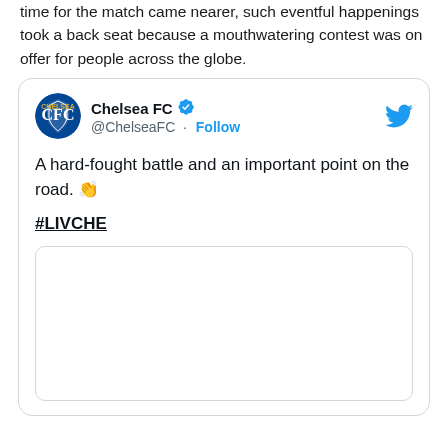time for the match came nearer, such eventful happenings took a back seat because a mouthwatering contest was on offer for people across the globe.
[Figure (screenshot): Embedded tweet from Chelsea FC (@ChelseaFC) with verified badge and Follow button. Tweet text: 'A hard-fought battle and an important point on the road. 👏 #LIVCHE'. Contains an embedded image placeholder.]